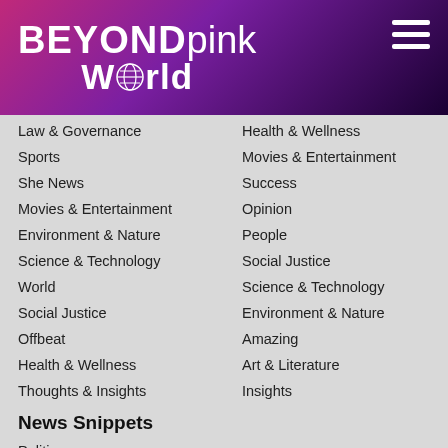[Figure (logo): BEYONDpink World logo with globe icon on dark purple-to-pink gradient header, with hamburger menu icon top right]
Law & Governance
Sports
She News
Movies & Entertainment
Environment & Nature
Science & Technology
World
Social Justice
Offbeat
Health & Wellness
Thoughts & Insights
Health & Wellness
Movies & Entertainment
Success
Opinion
People
Social Justice
Science & Technology
Environment & Nature
Amazing
Art & Literature
Insights
News Snippets
Politics
Business & Economics
Relationship